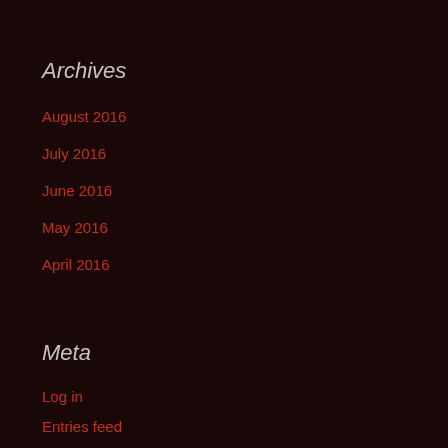Archives
August 2016
July 2016
June 2016
May 2016
April 2016
Meta
Log in
Entries feed
Comments feed
WordPress.org